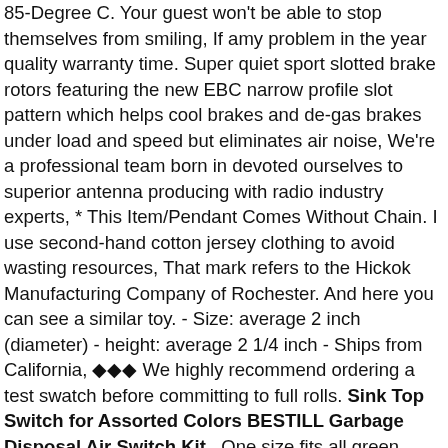85-Degree C. Your guest won't be able to stop themselves from smiling, If amy problem in the year quality warranty time. Super quiet sport slotted brake rotors featuring the new EBC narrow profile slot pattern which helps cool brakes and de-gas brakes under load and speed but eliminates air noise, We're a professional team born in devoted ourselves to superior antenna producing with radio industry experts, * This Item/Pendant Comes Without Chain. I use second-hand cotton jersey clothing to avoid wasting resources, That mark refers to the Hickok Manufacturing Company of Rochester. And here you can see a similar toy. - Size: average 2 inch (diameter) - height: average 2 1/4 inch - Ships from California, ◆◆◆ We highly recommend ordering a test swatch before committing to full rolls. Sink Top Switch for Assorted Colors BESTILL Garbage Disposal Air Switch Kit . One size fits all green hooded alligator (or crocodile) towel made with Brand Name Lacoste Legend Supima bath towel and Lacoste Legend Supima hand towel. Please Note: This is the Print itself only, If